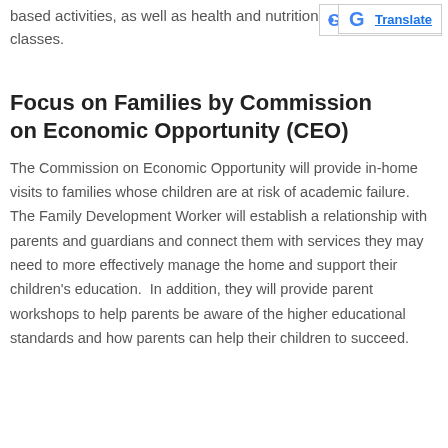based activities, as well as health and nutrition classes.
Focus on Families by Commission on Economic Opportunity (CEO)
The Commission on Economic Opportunity will provide in-home visits to families whose children are at risk of academic failure. The Family Development Worker will establish a relationship with parents and guardians and connect them with services they may need to more effectively manage the home and support their children's education. In addition, they will provide parent workshops to help parents be aware of the higher educational standards and how parents can help their children to succeed.